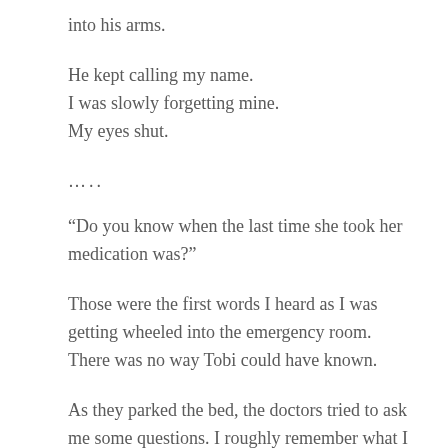into his arms.
He kept calling my name.
I was slowly forgetting mine.
My eyes shut.
…..
“Do you know when the last time she took her medication was?”
Those were the first words I heard as I was getting wheeled into the emergency room. There was no way Tobi could have known.
As they parked the bed, the doctors tried to ask me some questions. I roughly remember what I said. Soon there was a drip going into my forearm and I felt